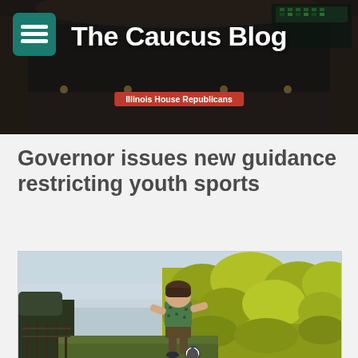The Caucus Blog — Illinois House Republicans
Governor issues new guidance restricting youth sports
[Figure (photo): A young boy in a patterned t-shirt and shorts kicking a soccer ball in front of tall yellow-green hedges, viewed from behind]